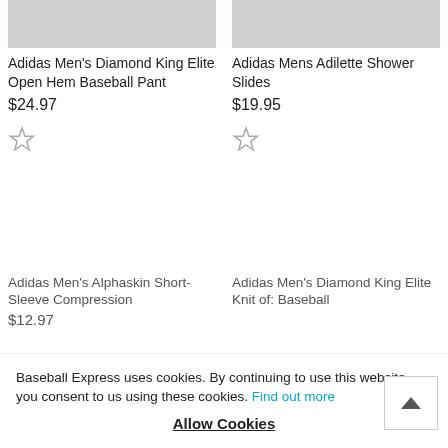[Figure (photo): Partial product image of Adidas Men's Diamond King Elite Open Hem Baseball Pant (top cropped)]
Adidas Men's Diamond King Elite Open Hem Baseball Pant
$24.97
[Figure (other): Star/favorite icon (outline star)]
[Figure (photo): Partial product image of Adidas Mens Adilette Shower Slides (top cropped)]
Adidas Mens Adilette Shower Slides
$19.95
[Figure (other): Star/favorite icon (outline star)]
Adidas Men's Alphaskin Short-Sleeve Compression
$12.97
Adidas Men's Diamond King Elite Knit of: Baseball
Baseball Express uses cookies. By continuing to use this website, you consent to us using these cookies. Find out more Allow Cookies